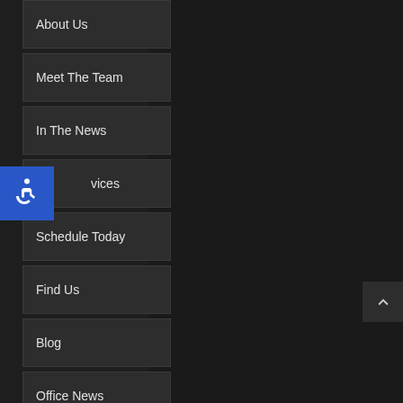About Us
Meet The Team
In The News
vices
Schedule Today
Find Us
Blog
Office News
[Figure (illustration): Accessibility icon button (wheelchair symbol) in blue square, overlapping nav panel on left side]
[Figure (illustration): Scroll-to-top button with upward chevron arrow on dark background, bottom right corner]